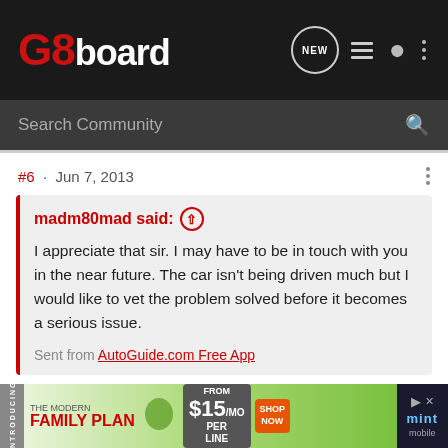G8board
Search Community
#6 · Jun 7, 2013
madm80mad said: ↑
I appreciate that sir. I may have to be in touch with you in the near future. The car isn't being driven much but I would like to vet the problem solved before it becomes a serious issue.

Sent from AutoGuide.com Free App
We'll be here whenever you're ready.
Reggie B.
GM Customer Care
[Figure (screenshot): Advertisement banner for Mint Mobile Modern Family Plan, $15/mo per line]